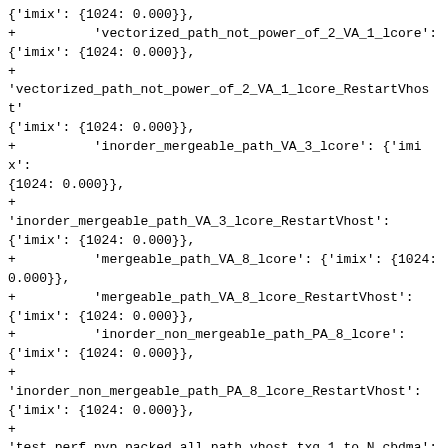{'imix': {1024: 0.000}},
+          'vectorized_path_not_power_of_2_VA_1_lcore': {'imix': {1024: 0.000}},
+
'vectorized_path_not_power_of_2_VA_1_lcore_RestartVhost': {'imix': {1024: 0.000}},
+          'inorder_mergeable_path_VA_3_lcore': {'imix': {1024: 0.000}},
+
'inorder_mergeable_path_VA_3_lcore_RestartVhost': {'imix': {1024: 0.000}},
+          'mergeable_path_VA_8_lcore': {'imix': {1024: 0.000}},
+          'mergeable_path_VA_8_lcore_RestartVhost': {'imix': {1024: 0.000}},
+          'inorder_non_mergeable_path_PA_8_lcore': {'imix': {1024: 0.000}},
+
'inorder_non_mergeable_path_PA_8_lcore_RestartVhost': {'imix': {1024: 0.000}},
+
'test_perf_pvp_packed_all_path_vhost_txq_1_to_N_cbdma': {
+          'inorder_mergeable_path_VA': {'imix': {1024: 0.000}},
+          'inorder_mergeable_path_VA_RestartVhost': {'imix': {1024: 0.000}},
+          'inorder_non_mergeable_path_VA': {'imix': {1024: 0.000}},
+          'inorder_non_mergeable_path_VA_RestartVhost':
{'imix': {1024: 0.000}